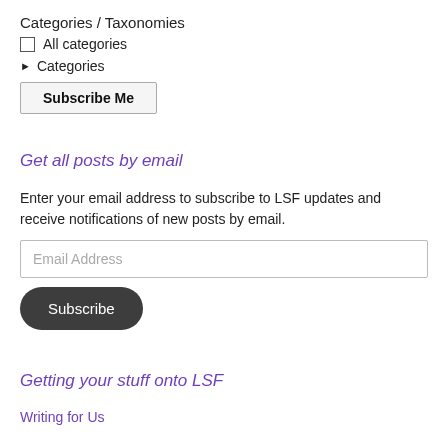Categories / Taxonomies
All categories
▶ Categories
Subscribe Me
Get all posts by email
Enter your email address to subscribe to LSF updates and receive notifications of new posts by email.
Email Address
Subscribe
Getting your stuff onto LSF
Writing for Us